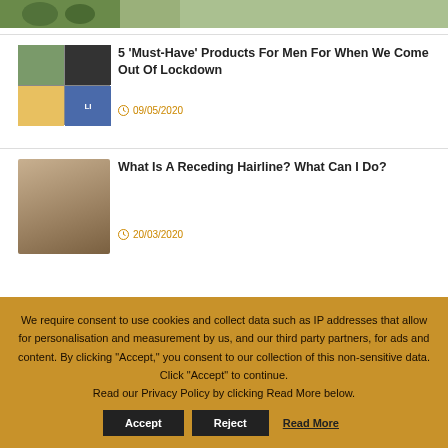[Figure (photo): Partial top image strip showing outdoor/lifestyle imagery]
[Figure (photo): Mosaic of product images: luggage, umbrella, food, man with Live text overlay]
5 'Must-Have' Products For Men For When We Come Out Of Lockdown
09/05/2020
[Figure (photo): Man wearing sunglasses smiling outdoors]
What Is A Receding Hairline? What Can I Do?
20/03/2020
We require consent to use cookies and collect data such as IP addresses that allow for personalisation and measurement by us, and our third party partners, for ads and content. By clicking "Accept," you consent to our collection of this non-sensitive data. Click "Accept" to continue.
Read our Privacy Policy by clicking Read More below.